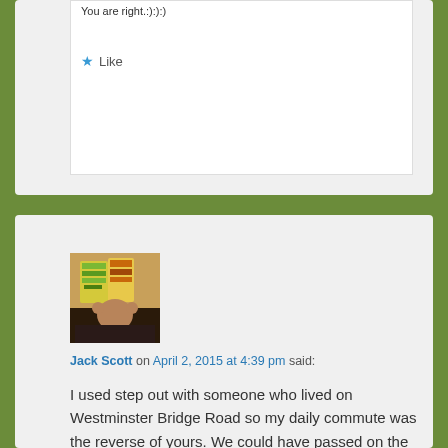You are right.:):):)
★ Like
[Figure (photo): User avatar photo of Jack Scott holding books/magazines in front of face]
Jack Scott on April 2, 2015 at 4:39 pm said:
I used step out with someone who lived on Westminster Bridge Road so my daily commute was the reverse of yours. We could have passed on the stairs!